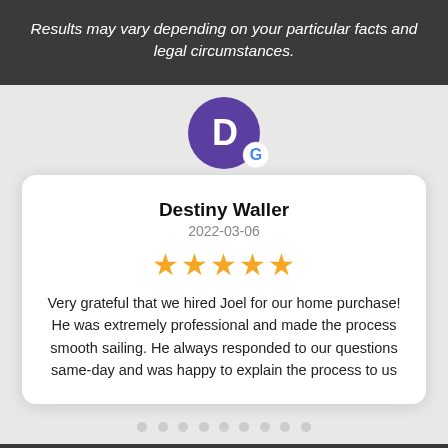Results may vary depending on your particular facts and legal circumstances.
[Figure (illustration): Purple circle avatar with letter D and Google G badge icon for reviewer Destiny Waller]
Destiny Waller
2022-03-06
[Figure (other): Five gold star rating]
Very grateful that we hired Joel for our home purchase! He was extremely professional and made the process smooth sailing. He always responded to our questions same-day and was happy to explain the process to us
[Figure (other): Carousel navigation dots, 9 dots in a row]